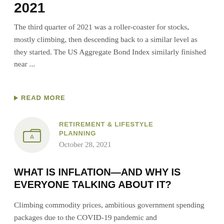2021
The third quarter of 2021 was a roller-coaster for stocks, mostly climbing, then descending back to a similar level as they started. The US Aggregate Bond Index similarly finished near ...
READ MORE
RETIREMENT & LIFESTYLE PLANNING
October 28, 2021
WHAT IS INFLATION—AND WHY IS EVERYONE TALKING ABOUT IT?
Climbing commodity prices, ambitious government spending packages due to the COVID-19 pandemic and